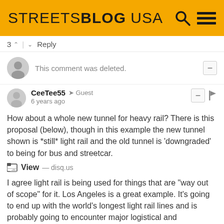STREETSBLOG USA
3 ^ | v Reply
This comment was deleted.
CeeTee55 → Guest
6 years ago
How about a whole new tunnel for heavy rail? There is this proposal (below), though in this example the new tunnel shown is *still* light rail and the old tunnel is 'downgraded' to being for bus and streetcar.
View — disq.us
I agree light rail is being used for things that are "way out of scope" for it. Los Angeles is a great example. It's going to end up with the world's longest light rail lines and is probably going to encounter major logistical and operational issues with these.
^ | v Reply